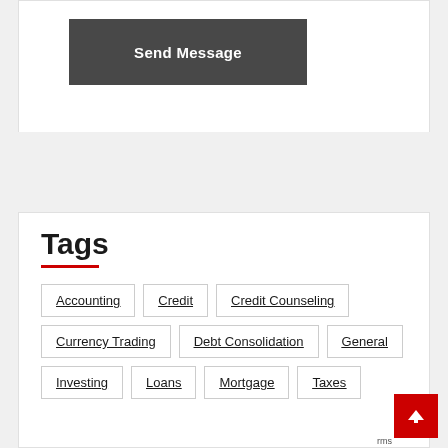Send Message
Tags
Accounting
Credit
Credit Counseling
Currency Trading
Debt Consolidation
General
Investing
Loans
Mortgage
Taxes